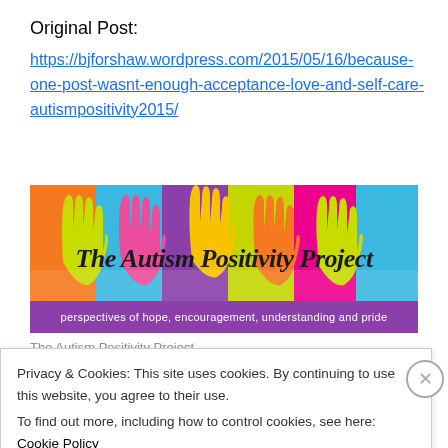Original Post:
https://bjforshaw.wordpress.com/2015/05/16/because-one-post-wasnt-enough-acceptance-love-and-self-care-autismpositivity2015/
[Figure (logo): The Autism Positivity Project banner with colorful hands raised on colored background panels. Subtitle: perspectives of hope, encouragement, understanding and pride]
Privacy & Cookies: This site uses cookies. By continuing to use this website, you agree to their use. To find out more, including how to control cookies, see here: Cookie Policy
Close and accept